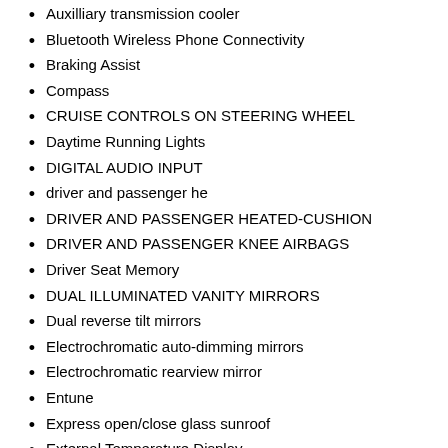Auxilliary transmission cooler
Bluetooth Wireless Phone Connectivity
Braking Assist
Compass
CRUISE CONTROLS ON STEERING WHEEL
Daytime Running Lights
DIGITAL AUDIO INPUT
driver and passenger he
DRIVER AND PASSENGER HEATED-CUSHION
DRIVER AND PASSENGER KNEE AIRBAGS
Driver Seat Memory
DUAL ILLUMINATED VANITY MIRRORS
Dual reverse tilt mirrors
Electrochromatic auto-dimming mirrors
Electrochromatic rearview mirror
Entune
Express open/close glass sunroof
External Temperature Display